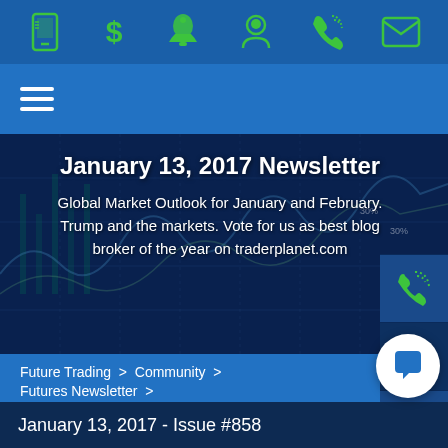[Icon bar: mobile app, dollar sign, alarm/alert, user profile, phone, email]
[Figure (screenshot): Navigation hamburger menu icon (three horizontal white lines) on blue background]
[Figure (screenshot): Hero banner with financial chart background showing stock market data]
January 13, 2017 Newsletter
Global Market Outlook for January and February. Trump and the markets. Vote for us as best blog broker of the year on traderplanet.com
Future Trading  >  Community  >  Futures Newsletter  >
Quick Links: TransAct AT | E-Futures | Trade Navigator
[Figure (screenshot): Right sidebar with phone icon (green)]
[Figure (screenshot): Right sidebar with search/magnifier icon (green)]
[Figure (screenshot): Right sidebar with bar chart/analytics icon (green)]
[Figure (screenshot): Chat bubble button (blue icon on white circle)]
January 13, 2017 - Issue #858